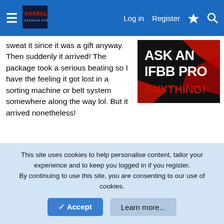Anabolic Steroid Forums — Log in | Register
sweat it since it was a gift anyway. Then suddenly it arrived! The package took a serious beating so I have the feeling it got lost in a sorting machine or belt system somewhere along the way lol. But it arrived nonetheless!
[Figure (illustration): Advertisement banner: ASK AN IFBB PRO ANYTHING! with red and black brush stroke design]
Popped it open and the bottle is nice, labeling is sharp, and the tabs are packed in a cute little sachet to prevent damage. Nice crisp edges and markings on them.
Took one 10mg before bed to see what it's all about. I woke up about 2 hours later ravenously hungry...not like a GHRP
This site uses cookies to help personalise content, tailor your experience and to keep you logged in if you register.
By continuing to use this site, you are consenting to our use of cookies.